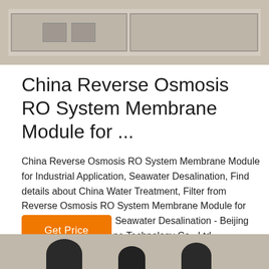[Figure (photo): Top portion of a product image showing what appears to be a membrane module or control panel with gray panels and rectangular components]
China Reverse Osmosis RO System Membrane Module for ...
China Reverse Osmosis RO System Membrane Module for Industrial Application, Seawater Desalination, Find details about China Water Treatment, Filter from Reverse Osmosis RO System Membrane Module for Industrial Application, Seawater Desalination - Beijing Origin Water Membrane Technology Co., Ltd.
[Figure (photo): Bottom portion of a product image showing dark rounded shapes against a light gray background, likely part of the RO membrane module equipment]